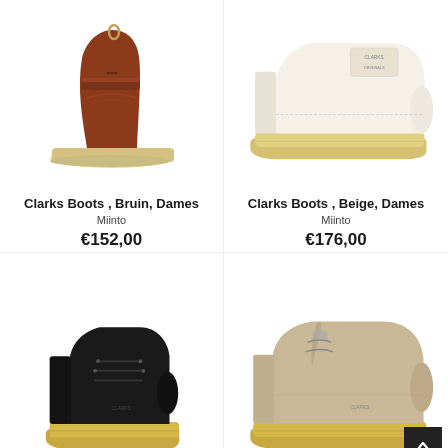[Figure (photo): Brown/rust suede ankle boot with crepe sole, Clarks]
Clarks Boots , Bruin, Dames
Miinto
€152,00
[Figure (photo): White/cream leather boot with crepe sole and Clarks logo, Clarks]
Clarks Boots , Beige, Dames
Miinto
€176,00
[Figure (photo): Black leather ankle boot with crepe sole, Clarks]
[Figure (photo): Beige/sand suede ankle boot with crepe sole, Clarks]